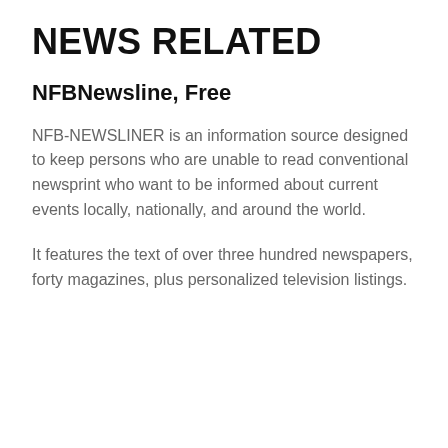NEWS RELATED
NFBNewsline, Free
NFB-NEWSLINER is an information source designed to keep persons who are unable to read conventional newsprint who want to be informed about current events locally, nationally, and around the world.
It features the text of over three hundred newspapers, forty magazines, plus personalized television listings.